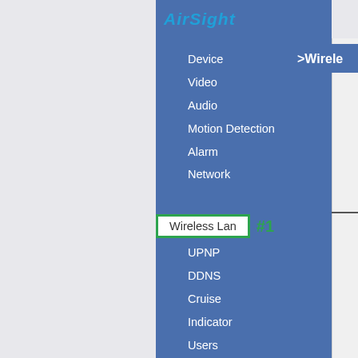[Figure (screenshot): AirSight IP camera web interface navigation panel showing a vertical menu on a blue background with items: Device, Video, Audio, Motion Detection, Alarm, Network, Wireless Lan (highlighted with green border and #1 label), UPNP, DDNS, Cruise, Indicator, Users, Log, Date&Time, Multi-Device Settings, E-mail(SMTP), FTP, SD Card, P2P Settings. The top right shows truncated '>Wirele' header text.]